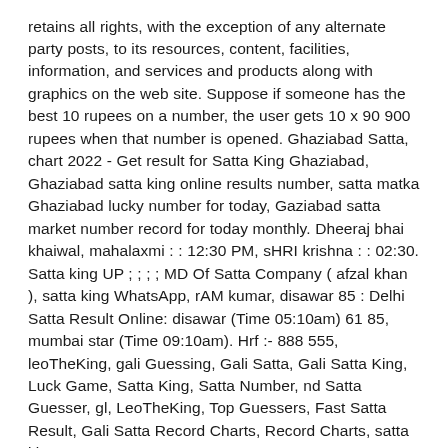retains all rights, with the exception of any alternate party posts, to its resources, content, facilities, information, and services and products along with graphics on the web site. Suppose if someone has the best 10 rupees on a number, the user gets 10 x 90 900 rupees when that number is opened. Ghaziabad Satta, chart 2022 - Get result for Satta King Ghaziabad, Ghaziabad satta king online results number, satta matka Ghaziabad lucky number for today, Gaziabad satta market number record for today monthly. Dheeraj bhai khaiwal, mahalaxmi : : 12:30 PM, sHRI krishna : : 02:30. Satta king UP ; ; ; ; MD Of Satta Company ( afzal khan ), satta king WhatsApp, rAM kumar, disawar 85 : Delhi Satta Result Online: disawar (Time 05:10am) 61 85, mumbai star (Time 09:10am). Hrf :- 888 555, leoTheKing, gali Guessing, Gali Satta, Gali Satta King, Luck Game, Satta King, Satta Number, nd Satta Guesser, gl, LeoTheKing, Top Guessers, Fast Satta Result, Gali Satta Record Charts, Record Charts, satta king expert, m, 2010.